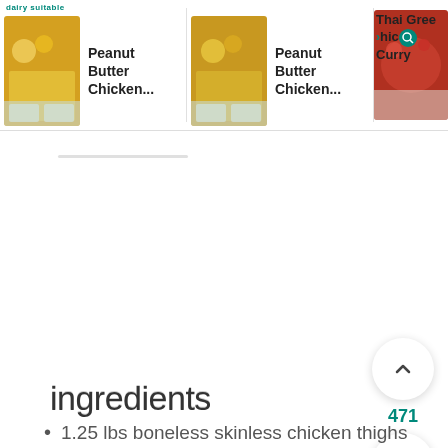[Figure (screenshot): Recipe cards row showing Peanut Butter Chicken (x2) and Thai Green Chicken Curry with food photos]
ingredients
1.25 lbs boneless skinless chicken thighs